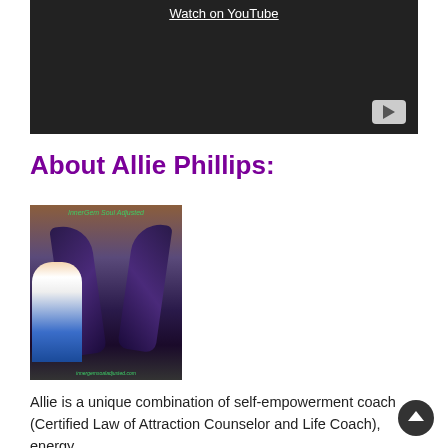[Figure (screenshot): Embedded YouTube video player with dark background, 'Watch on YouTube' link at top, and YouTube play button icon at bottom right]
About Allie Phillips:
[Figure (photo): Photo of Allie Phillips standing next to large amethyst crystal geode wings. Text at top reads 'InnerGem Soul Adjusted' and website text at bottom.]
Allie is a unique combination of self-empowerment coach (Certified Law of Attraction Counselor and Life Coach), energy